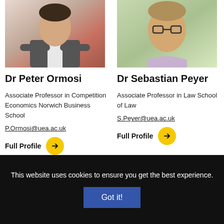[Figure (photo): Photo of Dr Peter Ormosi, man in grey suit with arms crossed]
[Figure (photo): Photo of Dr Sebastian Peyer, man with glasses smiling outdoors]
Dr Peter Ormosi
Dr Sebastian Peyer
Associate Professor in Competition Economics Norwich Business School
Associate Professor in Law School of Law
P.Ormosi@uea.ac.uk
S.Peyer@uea.ac.uk
Full Profile
Full Profile
This website uses cookies to ensure you get the best experience.
Got it!